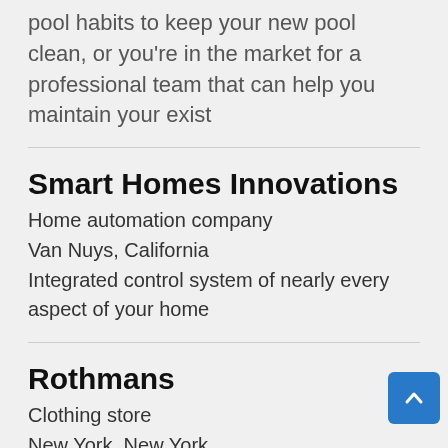pool habits to keep your new pool clean, or you're in the market for a professional team that can help you maintain your exist
Smart Homes Innovations
Home automation company
Van Nuys, California
Integrated control system of nearly every aspect of your home
Rothmans
Clothing store
New York, New York
Designer Men's Clothing, Shoes &